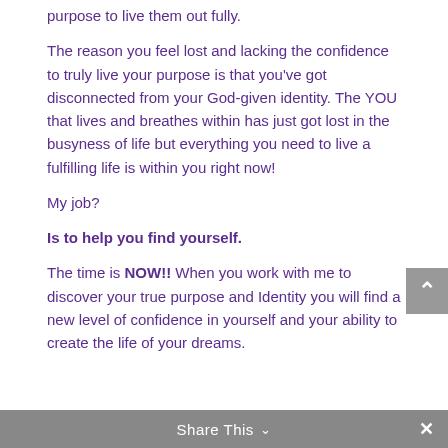purpose to live them out fully.
The reason you feel lost and lacking the confidence to truly live your purpose is that you've got disconnected from your God-given identity. The YOU that lives and breathes within has just got lost in the busyness of life but everything you need to live a fulfilling life is within you right now!
My job?
Is to help you find yourself.
The time is NOW!!  When you work with me to discover your true purpose and Identity you will find a new level of confidence in yourself and your ability to create the life of your dreams.
Share This ˅  ✕